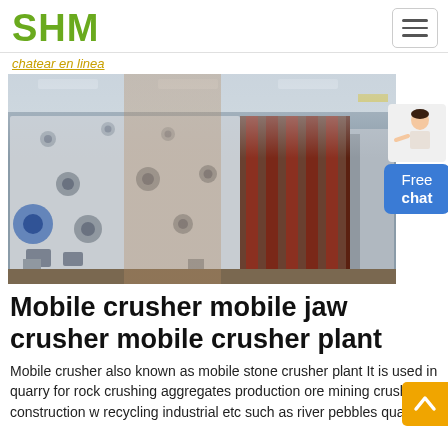SHM
chatear en linea
[Figure (photo): Large industrial mobile crusher / jaw crusher machine components in a factory setting, showing heavy steel frames and plates on a manufacturing floor.]
Mobile crusher mobile jaw crusher mobile crusher plant
Mobile crusher also known as mobile stone crusher plant It is used in quarry for rock crushing aggregates production ore mining crushing construction w recycling industrial etc such as river pebbles quartz